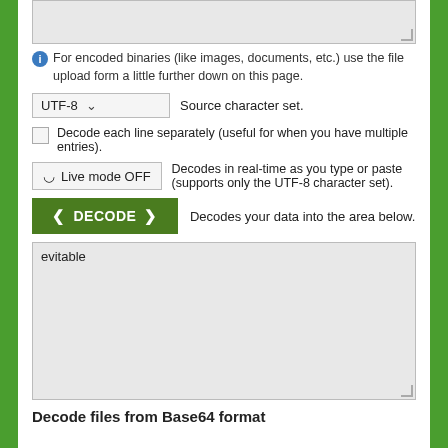[Figure (screenshot): Gray textarea input box at the top of the panel]
For encoded binaries (like images, documents, etc.) use the file upload form a little further down on this page.
UTF-8  Source character set.
Decode each line separately (useful for when you have multiple entries).
Live mode OFF  Decodes in real-time as you type or paste (supports only the UTF-8 character set).
DECODE  Decodes your data into the area below.
[Figure (screenshot): Gray textarea output box containing the text 'evitable']
Decode files from Base64 format